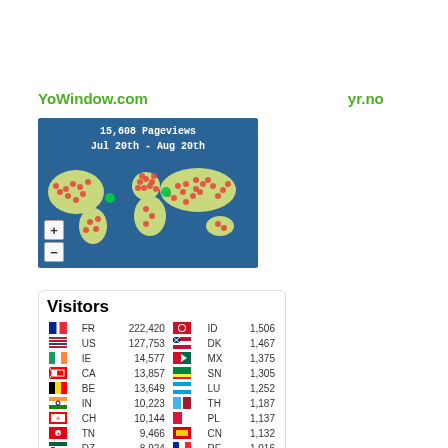YoWindow.com    yr.no
[Figure (map): World map widget showing 15,608 Pageviews Jul 20th - Aug 20th with red dots marking visitor locations worldwide]
| FR | 222,420 | ID | 1,506 |
| US | 127,753 | DK | 1,467 |
| IE | 14,577 | MX | 1,375 |
| CA | 13,857 | SN | 1,305 |
| BE | 13,649 | LU | 1,252 |
| IN | 10,223 | TH | 1,187 |
| CH | 10,144 | PL | 1,137 |
| TN | 9,466 | CN | 1,132 |
| DZ | 8,924 | RE | 1,016 |